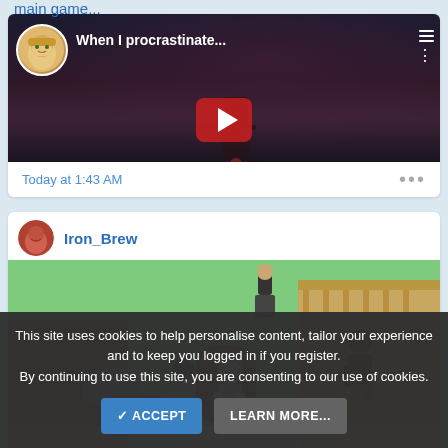main game...
[Figure (screenshot): YouTube-style video embed showing 'When I procrastinate...' with a user avatar, dark moody background with top-hat figure, and red play button]
Today at 1:43 AM
Iron_Brew
[Figure (screenshot): Pixel art RPG game screenshot showing characters including a cat-person, a male character, and a female character on a green outdoor map with rocks, barrels, and buildings]
Today at 1:18 AM
This site uses cookies to help personalise content, tailor your experience and to keep you logged in if you register.
By continuing to use this site, you are consenting to our use of cookies.